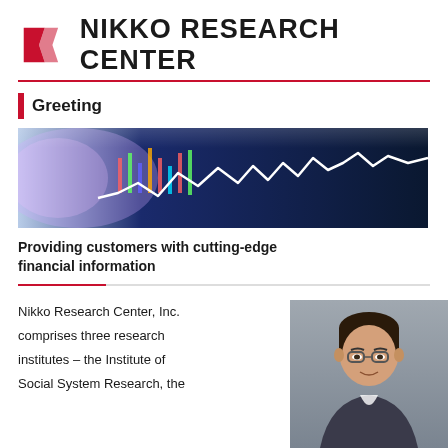[Figure (logo): Nikko Research Center logo with red angular flag icon and bold text 'NIKKO RESEARCH CENTER']
Greeting
[Figure (photo): Stock market chart photo showing colorful candlestick chart with white line on dark blue background]
Providing customers with cutting-edge financial information
Nikko Research Center, Inc. comprises three research institutes – the Institute of Social System Research, the
[Figure (photo): Portrait photo of an elderly Japanese man wearing glasses, in a grey background]